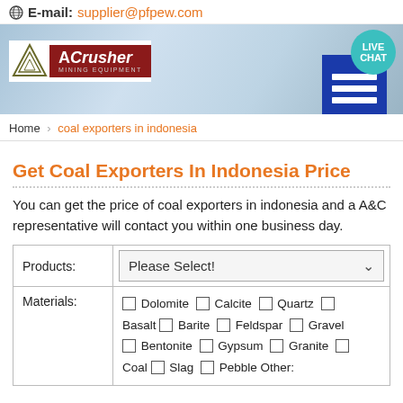E-mail:supplier@pfpew.com
[Figure (screenshot): ACrusher Mining Equipment logo banner with live chat button on background of industrial/sky image]
Home > coal exporters in indonesia
Get Coal Exporters In Indonesia Price
You can get the price of coal exporters in indonesia and a A&C representative will contact you within one business day.
| Products: | Please Select! |
| --- | --- |
| Materials: | ☐ Dolomite ☐ Calcite ☐ Quartz ☐ Basalt ☐ Barite ☐ Feldspar ☐ Gravel ☐ Bentonite ☐ Gypsum ☐ Granite ☐ Coal ☐ Slag ☐ Pebble Other: |